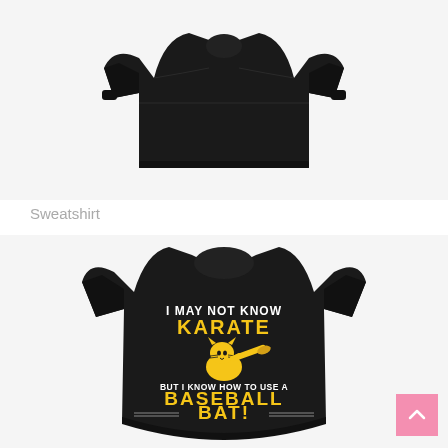[Figure (photo): Black sweatshirt product photo on light gray background]
Sweatshirt
[Figure (photo): Black t-shirt with text 'I MAY NOT KNOW KARATE BUT I KNOW HOW TO USE A BASEBALL BAT!' and a cartoon cat holding a baseball bat, on light gray background]